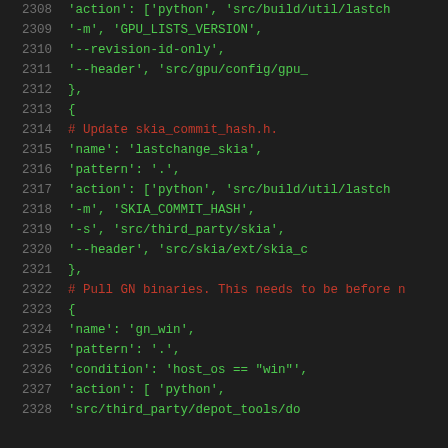Source code listing, lines 2308-2328, showing Python build configuration with hook entries for GPU lists version, skia_commit_hash, and gn_win.